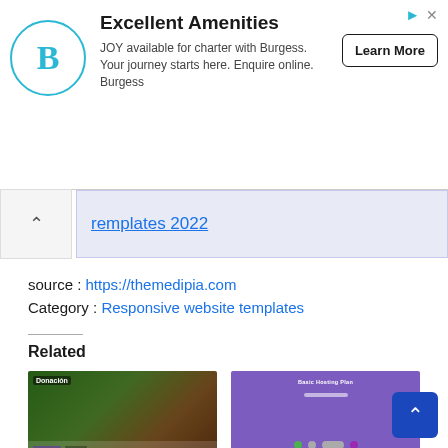[Figure (infographic): Advertisement banner for Burgess yacht charter. Shows Burgess logo (B in circle), headline 'Excellent Amenities', body text 'JOY available for charter with Burgess. Your journey starts here. Enquire online. Burgess', and a 'Learn More' button.]
remplates 2022
source : https://themedipia.com
Category : Responsive website templates
Related
[Figure (screenshot): Thumbnail of Donation Responsive WordPress Theme showing green and brown color scheme with 'Donación' text overlay and WooCommerce badge.]
Donation Responsive WordPress Theme Free Download
June 14, 2022
In "Website
[Figure (screenshot): Thumbnail of a purple hosting theme with 'Basic Hosting Plan' text and colored dots at bottom.]
10+ Best Free WordPress Hosting Themes (Most Popular 2022)
May 18, 2022